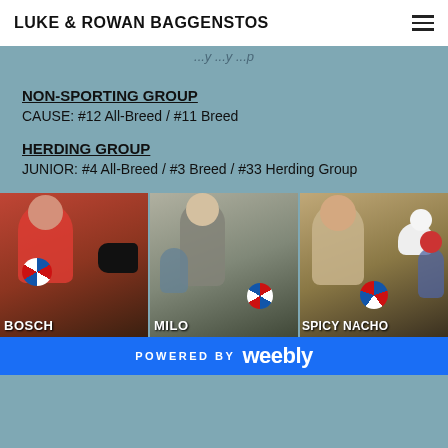LUKE & ROWAN BAGGENSTOS
...y ...y ...p
NON-SPORTING GROUP
CAUSE: #12 All-Breed / #11 Breed
HERDING GROUP
JUNIOR: #4 All-Breed / #3 Breed / #33 Herding Group
[Figure (photo): Three side-by-side photos of people with dogs and ribbons, labeled BOSCH, MILO, and SPICY NACHO]
POWERED BY weebly